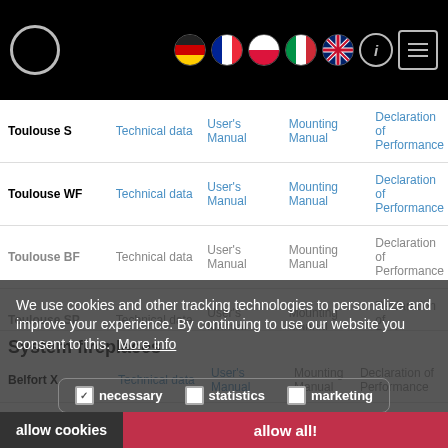Website header with logo and language/navigation icons (DE, FR, PL, IT, UK, info, menu)
| Product | Technical data | User's Manual | Mounting Manual | Declaration of Performance |
| --- | --- | --- | --- | --- |
| Toulouse S | Technical data | User's Manual | Mounting Manual | Declaration of Performance |
| Toulouse WF | Technical data | User's Manual | Mounting Manual | Declaration of Performance |
| Toulouse BF | Technical data | User's Manual | Mounting Manual | Declaration of Performance |
| Toulouse SP | Technical data | User's Manual | Mounting Manual | Declaration of Performance |
| Vulkan | Technical data | User's Manual | Mounting Manual | — |
System fireplaces
| Product | Technical data | User's Manual | Mounting Manual | Declaration of Performance |
| --- | --- | --- | --- | --- |
| Belfort X | Technical data | User's Manual | Mounting Manual | Declaration of Performance |
We use cookies and other tracking technologies to personalize and improve your experience. By continuing to use our website you consent to this. More info
necessary  statistics  marketing
allow cookies   allow all!